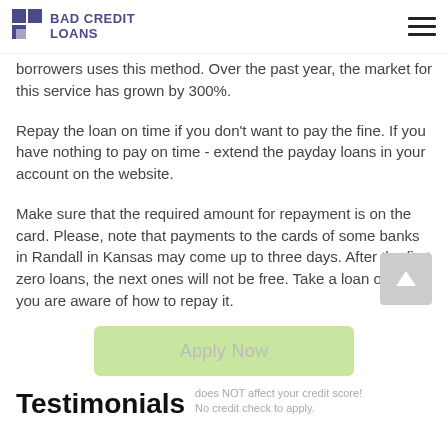BAD CREDIT LOANS
borrowers uses this method. Over the past year, the market for this service has grown by 300%.
Repay the loan on time if you don't want to pay the fine. If you have nothing to pay on time - extend the payday loans in your account on the website.
Make sure that the required amount for repayment is on the card. Please, note that payments to the cards of some banks in Randall in Kansas may come up to three days. After the first zero loans, the next ones will not be free. Take a loan only if you are aware of how to repay it.
Apply Now
Testimonials
does NOT affect your credit score! No credit check to apply.